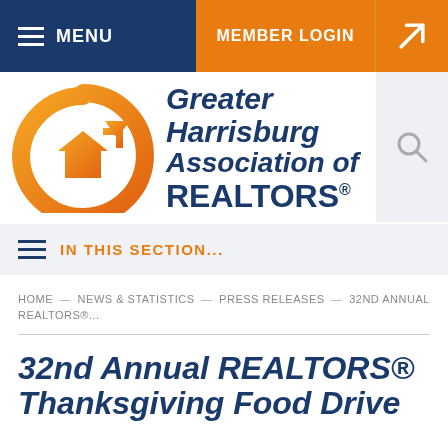MENU | MEMBER LOGIN
[Figure (logo): Greater Harrisburg Association of REALTORS logo with orange G-shaped swoosh and house icon]
IN THIS SECTION...
HOME → NEWS & STATISTICS → PRESS RELEASES → 32ND ANNUAL REALTORS®...
32nd Annual REALTORS® Thanksgiving Food Drive